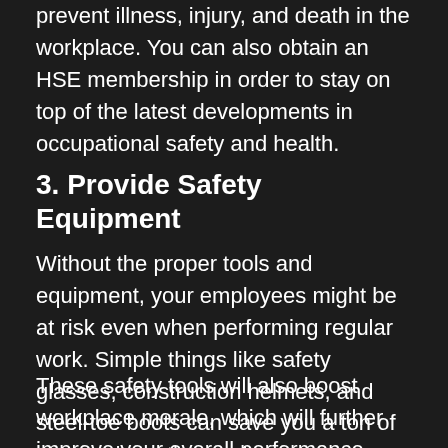prevent illness, injury, and death in the workplace. You can also obtain an HSE membership in order to stay on top of the latest developments in occupational safety and health.
3. Provide Safety Equipment
Without the proper tools and equipment, your employees might be at risk even when performing regular work. Simple things like safety glasses, construction helmets, and steel-toe boots can save you a ton of money down the road.
These safety tools will also boost workplace morale, which will further improve your overall performance. Keep in mind that the cost of safety equipment is negligible compared to the cost of the average workplace injury lawsuit.